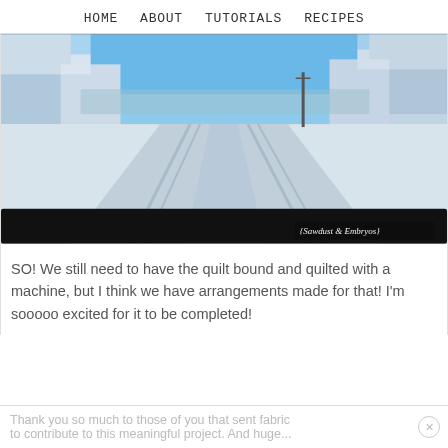HOME   ABOUT   TUTORIALS   RECIPES
[Figure (photo): A snow-covered rural road photographed from inside a vehicle. Snow-laden trees line both sides of the road. Blue sky above. Tire tracks visible in the snow. Watermark reads '{Sawdust & Embryos}' in bottom right corner.]
SO! We still need to have the quilt bound and quilted with a machine, but I think we have arrangements made for that! I'm sooooo excited for it to be completed!
Thank you so much to those of you that sent fabric to contribute to this meaningful project. And huge...